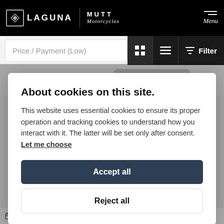LAGUNA | MUTT Motorcycles — Menu
Price / Payment (Low)
About cookies on this site.
This website uses essential cookies to ensure its proper operation and tracking cookies to understand how you interact with it. The latter will be set only after consent. Let me choose
Accept all
Reject all
2017 (67)   6,933 Miles